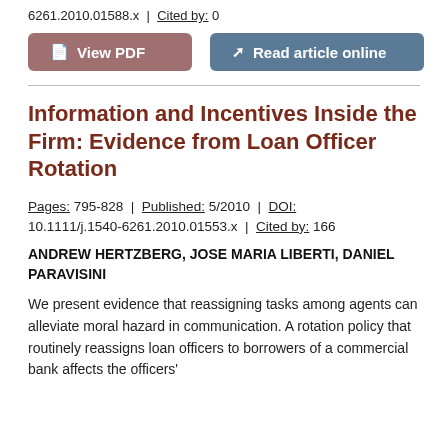6261.2010.01588.x | Cited by: 0
[Figure (other): Two buttons: 'View PDF' (brownish-red background) and 'Read article online' (slate blue background)]
Information and Incentives Inside the Firm: Evidence from Loan Officer Rotation
Pages: 795-828 | Published: 5/2010 | DOI: 10.1111/j.1540-6261.2010.01553.x | Cited by: 166
ANDREW HERTZBERG, JOSE MARIA LIBERTI, DANIEL PARAVISINI
We present evidence that reassigning tasks among agents can alleviate moral hazard in communication. A rotation policy that routinely reassigns loan officers to borrowers of a commercial bank affects the officers'